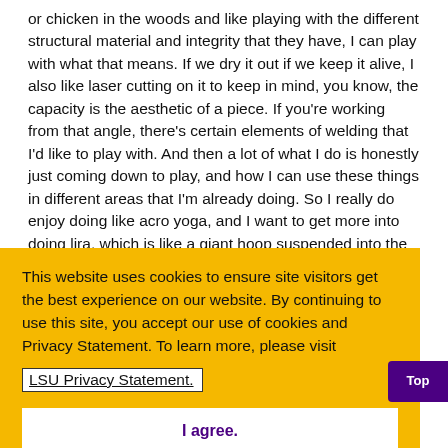or chicken in the woods and like playing with the different structural material and integrity that they have, I can play with what that means. If we dry it out if we keep it alive, I also like laser cutting on it to keep in mind, you know, the capacity is the aesthetic of a piece. If you're working from that angle, there's certain elements of welding that I'd like to play with. And then a lot of what I do is honestly just coming down to play, and how I can use these things in different areas that I'm already doing. So I really do enjoy doing like acro yoga, and I want to get more into doing lira, which is like a giant hoop suspended into the air that you do work on. And so I'm
[Figure (screenshot): Cookie consent banner with yellow background. Text reads: 'This website uses cookies to ensure site visitors get the best experience on our website. By continuing to use this site, you accept our use of cookies and Privacy Statement. To learn more, please visit LSU Privacy Statement.' with an 'I agree.' button below.]
and you're focused on that task. I find that also my mind will, will